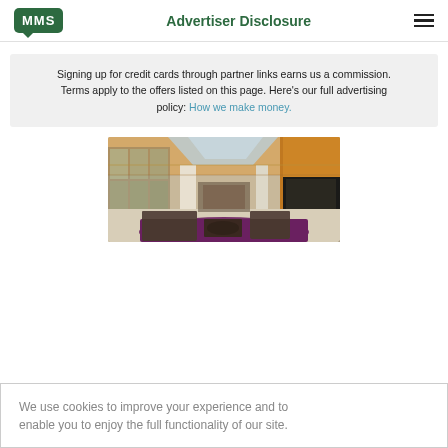Advertiser Disclosure
Signing up for credit cards through partner links earns us a commission. Terms apply to the offers listed on this page. Here's our full advertising policy: How we make money.
[Figure (photo): Interior of a modern hotel lobby with warm wood paneling, high ceilings with skylights, columns, lounge seating area with dark armchairs, and a purple area rug on light flooring.]
We use cookies to improve your experience and to enable you to enjoy the full functionality of our site.